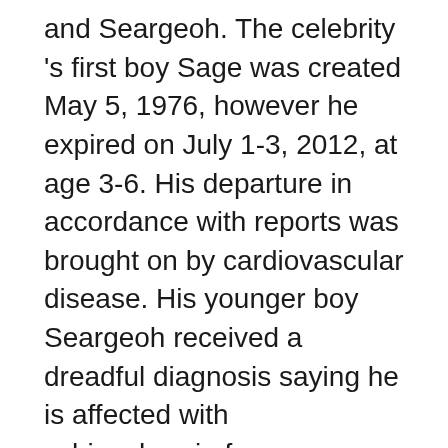and Seargeoh. The celebrity 's first boy Sage was created May 5, 1976, however he expired on July 1-3, 2012, at age 3-6. His departure in accordance with reports was brought on by cardiovascular disease. His younger boy Seargeoh received a dreadful diagnosis saying he is affected with schizophrenia from a young age. Sylvester's union with Sasha later stopped in 1985 on Valentine's day. The celebrity found love again, that time around at the arms of a model and celebrity. She married Sylvester on December 1-5, 1985. But she isn't even “that the 1 " either. Over such events, no one was sure what had contributed to the separation nonetheless it was very clear that the Ex Lovers had made their mind up to move their individual ways. The set is apparently exceptionally in love and you can find not any rumours of separation